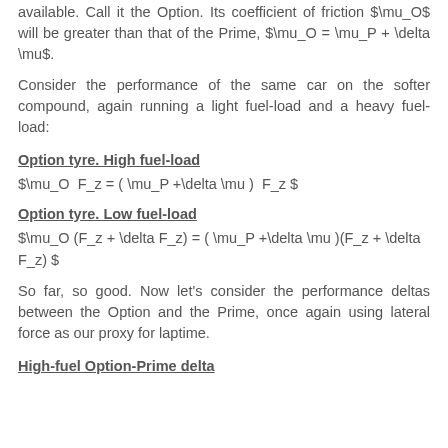available. Call it the Option. Its coefficient of friction $\mu_O$ will be greater than that of the Prime, $\mu_O = \mu_P + \delta \mu$.
Consider the performance of the same car on the softer compound, again running a light fuel-load and a heavy fuel-load:
Option tyre. High fuel-load
Option tyre. Low fuel-load
So far, so good. Now let's consider the performance deltas between the Option and the Prime, once again using lateral force as our proxy for laptime.
High-fuel Option-Prime delta